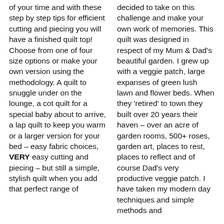of your time and with these step by step tips for efficient cutting and piecing you will have a finished quilt top! Choose from one of four size options or make your own version using the methodology. A quilt to snuggle under on the lounge, a cot quilt for a special baby about to arrive, a lap quilt to keep you warm or a larger version for your bed – easy fabric choices, VERY easy cutting and piecing – but still a simple, stylish quilt when you add that perfect range of
decided to take on this challenge and make your own work of memories. This quilt was designed in respect of my Mum & Dad's beautiful garden. I grew up with a veggie patch, large expanses of green lush lawn and flower beds. When they 'retired' to town they built over 20 years their haven – over an acre of garden rooms, 500+ roses, garden art, places to rest, places to reflect and of course Dad's very productive veggie patch. I have taken my modern day techniques and simple methods and